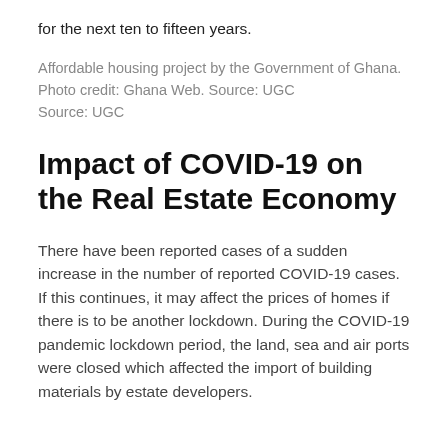for the next ten to fifteen years.
Affordable housing project by the Government of Ghana. Photo credit: Ghana Web. Source: UGC
Source: UGC
Impact of COVID-19 on the Real Estate Economy
There have been reported cases of a sudden increase in the number of reported COVID-19 cases. If this continues, it may affect the prices of homes if there is to be another lockdown. During the COVID-19 pandemic lockdown period, the land, sea and air ports were closed which affected the import of building materials by estate developers.